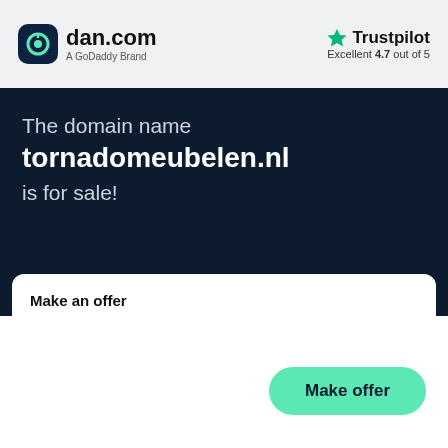[Figure (logo): dan.com logo with dark rounded square icon and 'A GoDaddy Brand' subtitle]
[Figure (logo): Trustpilot logo with green star, rated Excellent 4.7 out of 5]
The domain name
tornadomeubelen.nl
is for sale!
Make an offer
Make offer